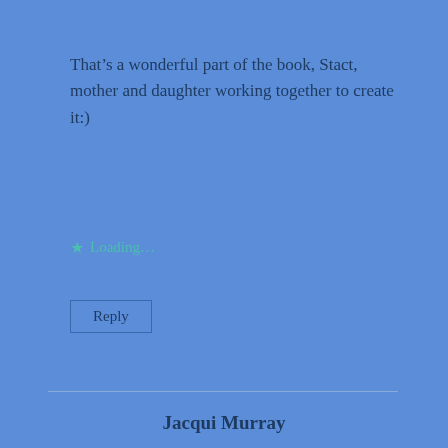That's a wonderful part of the book, Stact, mother and daughter working together to create it:)
Loading...
Reply
Jacqui Murray
March 11, 2020 at 7:43 am
Love seeing Robbie's book around. Congrats on a great tour, Robbie!